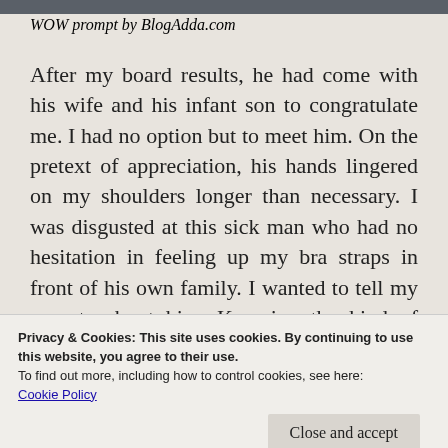[Figure (photo): Dark image strip at top of page]
WOW prompt by BlogAdda.com
After my board results, he had come with his wife and his infant son to congratulate me. I had no option but to meet him. On the pretext of appreciation, his hands lingered on my shoulders longer than necessary. I was disgusted at this sick man who had no hesitation in feeling up my bra straps in front of his own family. I wanted to tell my parents about him. Knowing the kind of open
Privacy & Cookies: This site uses cookies. By continuing to use this website, you agree to their use.
To find out more, including how to control cookies, see here:
Cookie Policy
to stay silent not because I thought they would